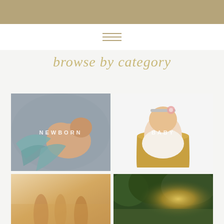≡
browse by category
[Figure (photo): Sleeping newborn baby posed on gray fabric wrap, overhead shot. Text overlay: NEWBORN]
[Figure (photo): Baby girl sitting in gold bucket/tub wearing lace outfit and floral headband, smiling. Text overlay: BABY]
[Figure (photo): Soft blurred outdoor sunset portrait, warm golden tones]
[Figure (photo): Outdoor family portrait under trees with golden sunlight filtering through]